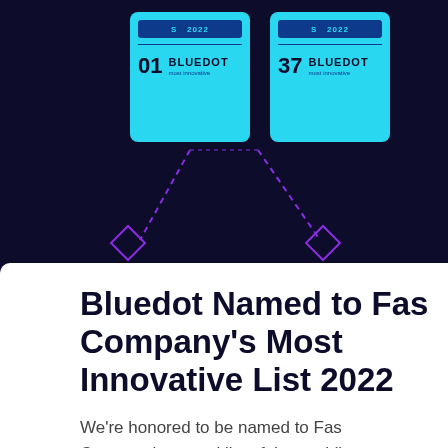[Figure (screenshot): Dark navy background with two cyan badge/card UI elements showing rank 01 and rank 37 for Bluedot, connected by purple dashed lines and diamond shapes]
Bluedot Named to Fast Company's Most Innovative List 2022
We're honored to be named to Fast Company's annual list of the world's most innovative companies.   Companies innovate, and innovate they must to keep pace with changes…
Our site uses cookies. By continuing to use this site, you are agreeing to our Cookie Policy.
OK, I understand